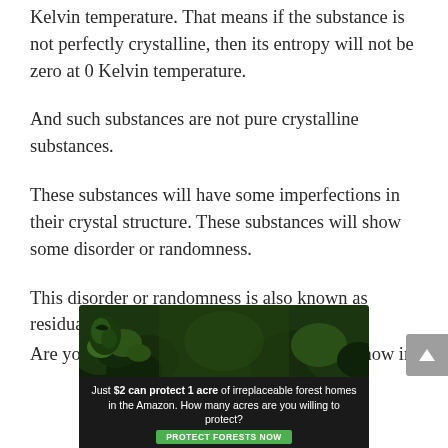Kelvin temperature. That means if the substance is not perfectly crystalline, then its entropy will not be zero at 0 Kelvin temperature.
And such substances are not pure crystalline substances.
These substances will have some imperfections in their crystal structure. These substances will show some disorder or randomness.
This disorder or randomness is also known as residual entropy.
Are you getting what I am saying? (Let me know in
[Figure (other): Advertisement banner: 'Just $2 can protect 1 acre of irreplaceable forest homes in the Amazon. How many acres are you willing to protect?' with a green Protect Forests Now button and a forest/Amazon imagery background.]